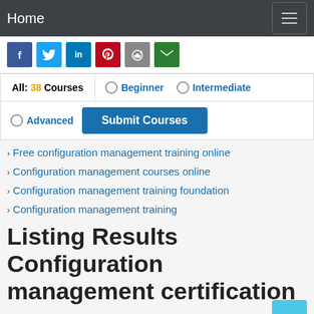Home
[Figure (other): Social sharing icons: Facebook, Twitter, LinkedIn, Pinterest, Reddit, Email]
All: 38 Courses  Beginner  Intermediate  Advanced  Submit Courses
Free configuration management training online
Configuration management courses online
Configuration management training foundation
Configuration management training
Listing Results Configuration management certification course